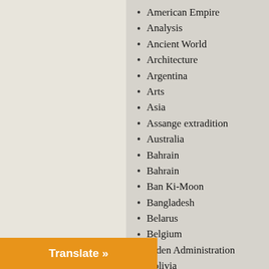American Empire
Analysis
Ancient World
Architecture
Argentina
Arts
Asia
Assange extradition
Australia
Bahrain
Bahrain
Ban Ki-Moon
Bangladesh
Belarus
Belgium
Biden Administration
Bolivia
Books
Brazil
Translate »